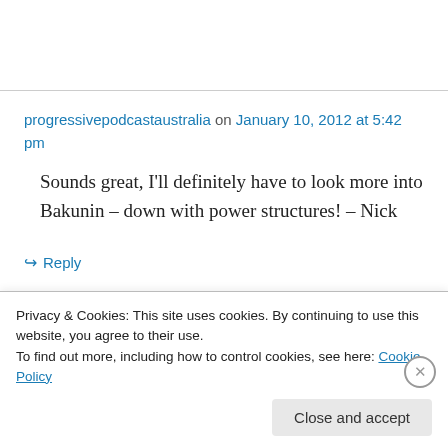progressivepodcastaustralia on January 10, 2012 at 5:42 pm
Sounds great, I'll definitely have to look more into Bakunin – down with power structures! – Nick
↳ Reply
Privacy & Cookies: This site uses cookies. By continuing to use this website, you agree to their use.
To find out more, including how to control cookies, see here: Cookie Policy